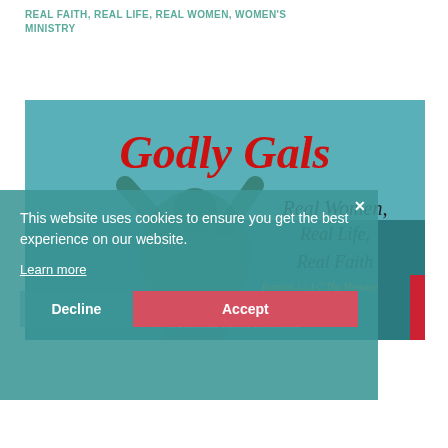REAL FAITH, REAL LIFE, REAL WOMEN, WOMEN'S MINISTRY
[Figure (illustration): Godly Gals website banner image showing a woman with arms raised against a teal/ocean background, with italic text 'Godly Gals' in red, 'Real Women, Real Life, Real Faith' in dark italic, Romans 12:1-2 The Message in gold, and www.MelissaMashburn.com in light blue at the bottom]
This website uses cookies to ensure you get the best experience on our website.
Learn more
Decline
Accept